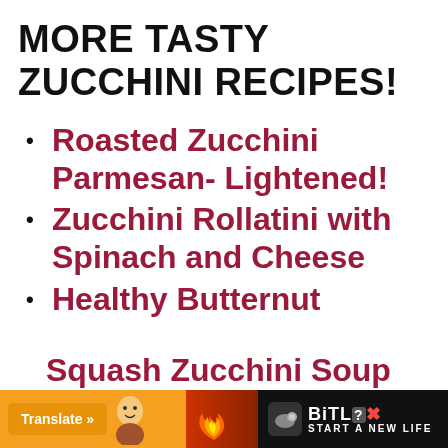MORE TASTY ZUCCHINI RECIPES!
Roasted Zucchini Parmesan- Lightened!
Zucchini Rollatini with Spinach and Cheese
Healthy Butternut Squash Zucchini Soup
[Figure (screenshot): Advertisement banner for BitLife app with Translate button, cartoon character, flames, and 'START A NEW LIFE' text on dark background]